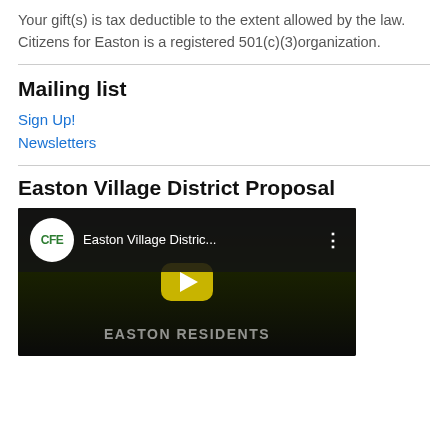Your gift(s) is tax deductible to the extent allowed by the law. Citizens for Easton is a registered 501(c)(3)organization.
Mailing list
Sign Up!
Newsletters
Easton Village District Proposal
[Figure (screenshot): YouTube video thumbnail for 'Easton Village Distric...' with CFE logo circle in top-left, video title bar, play button in center, and 'EASTON RESIDENTS' text overlay at bottom.]